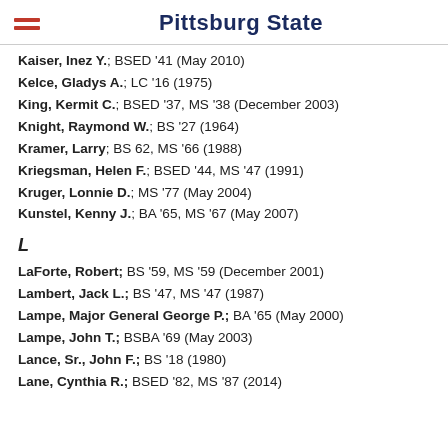Pittsburg State
Kaiser, Inez Y.; BSED '41 (May 2010)
Kelce, Gladys A.; LC '16 (1975)
King, Kermit C.; BSED '37, MS '38 (December 2003)
Knight, Raymond W.; BS '27 (1964)
Kramer, Larry; BS 62, MS '66 (1988)
Kriegsman, Helen F.; BSED '44, MS '47 (1991)
Kruger, Lonnie D.; MS '77 (May 2004)
Kunstel, Kenny J.; BA '65, MS '67 (May 2007)
L
LaForte, Robert; BS '59, MS '59 (December 2001)
Lambert, Jack L.; BS '47, MS '47 (1987)
Lampe, Major General George P.; BA '65 (May 2000)
Lampe, John T.; BSBA '69 (May 2003)
Lance, Sr., John F.; BS '18 (1980)
Lane, Cynthia R.; BSED '82, MS '87 (2014)